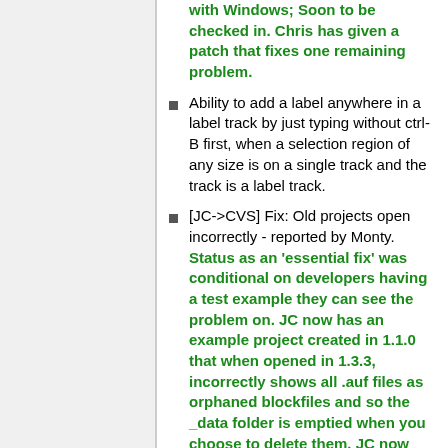with Windows; Soon to be checked in. Chris has given a patch that fixes one remaining problem.
Ability to add a label anywhere in a label track by just typing without ctrl-B first, when a selection region of any size is on a single track and the track is a label track.
[JC->CVS] Fix: Old projects open incorrectly - reported by Monty. Status as an 'essential fix' was conditional on developers having a test example they can see the problem on. JC now has an example project created in 1.1.0 that when opened in 1.3.3, incorrectly shows all .auf files as orphaned blockfiles and so the _data folder is emptied when you choose to delete them. JC now has Audacity correctly identifying the real orphans (there are 10), but the waveform is still opening as blank. Needs more investigation.
Optional beep on completion of long activities. On the understanding this is a